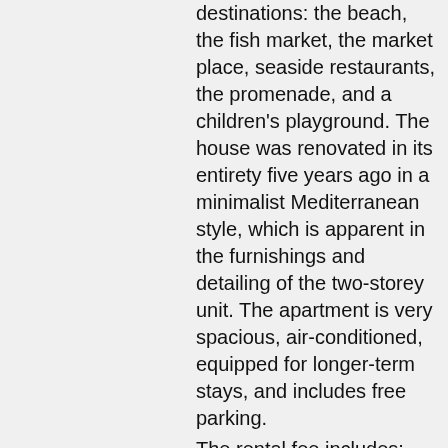destinations: the beach, the fish market, the market place, seaside restaurants, the promenade, and a children's playground. The house was renovated in its entirety five years ago in a minimalist Mediterranean style, which is apparent in the furnishings and detailing of the two-storey unit. The apartment is very spacious, air-conditioned, equipped for longer-term stays, and includes free parking. The rental fee includes:
Accommodation for 4 to 6 people
Fully equipped kitchen with dishwasher
Dining area
Living room with sofa bed and office nook
Bedroom with queen bed
Bedroom with two bunk-beds (190cm x 100cm)